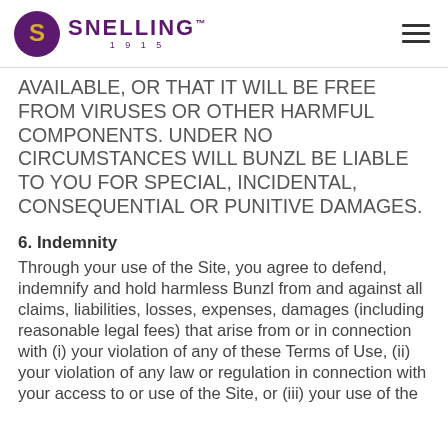SNELLING 1915
AVAILABLE, OR THAT IT WILL BE FREE FROM VIRUSES OR OTHER HARMFUL COMPONENTS. UNDER NO CIRCUMSTANCES WILL BUNZL BE LIABLE TO YOU FOR SPECIAL, INCIDENTAL, CONSEQUENTIAL OR PUNITIVE DAMAGES.
6. Indemnity
Through your use of the Site, you agree to defend, indemnify and hold harmless Bunzl from and against all claims, liabilities, losses, expenses, damages (including reasonable legal fees) that arise from or in connection with (i) your violation of any of these Terms of Use, (ii) your violation of any law or regulation in connection with your access to or use of the Site, or (iii) your use of the